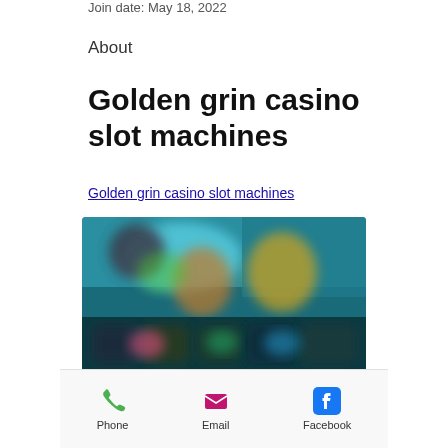Join date: May 18, 2022
About
Golden grin casino slot machines
Golden grin casino slot machines
[Figure (screenshot): Blurred screenshot of a casino slot machine game interface with colorful characters and game icons]
Phone  Email  Facebook